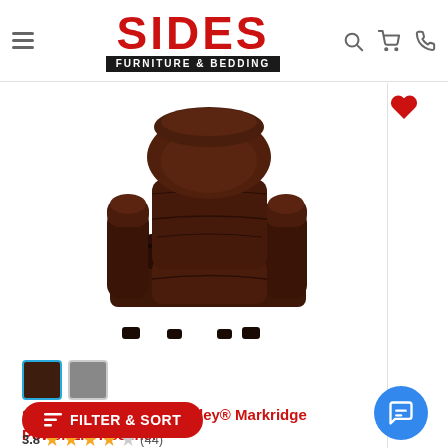SIDES FURNITURE & BEDDING
[Figure (photo): Dark brown leather power lift recliner chair by Signature Design by Ashley, model Markridge, shown in upright seated position on white background]
[Figure (other): Two color swatches: dark brown (selected, with blue border) and gray]
Signature Design by Ashley® Markridge Power Lift Recliner
3.8 ★★★★☆ (44)